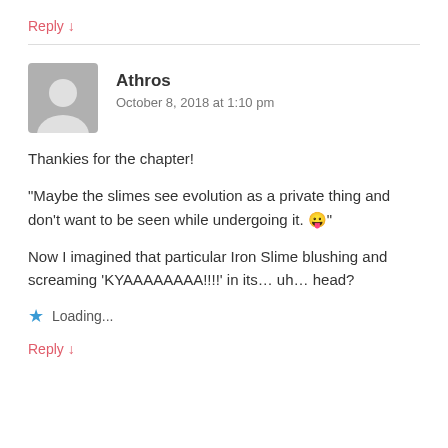Reply ↓
Athros
October 8, 2018 at 1:10 pm
Thankies for the chapter!
“Maybe the slimes see evolution as a private thing and don’t want to be seen while undergoing it. 😛”
Now I imagined that particular Iron Slime blushing and screaming ‘KYAAAAAAAA!!!!’ in its… uh… head?
Loading...
Reply ↓